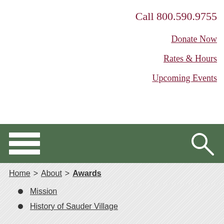[Figure (logo): Sauder Village logo: dark red/maroon background with a windmill illustration and 'Sauder Village' text in white serif font]
Call 800.590.9755
Donate Now
Rates & Hours
Upcoming Events
[Figure (infographic): Green navigation bar with hamburger menu icon (three white horizontal bars) on the left and a white search (magnifying glass) icon on the right]
Home > About > Awards
Mission
History of Sauder Village